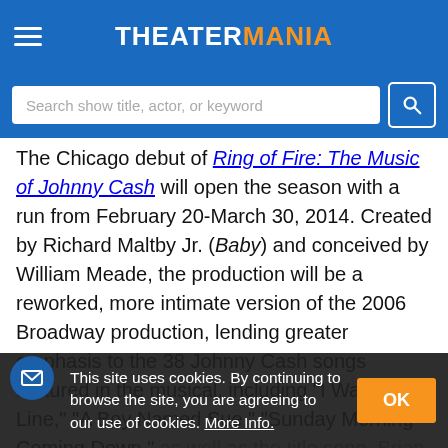THEATERMANIA
Search show title, actor, or keyword
The Chicago debut of Ring of Fire: The Music of Johnny Cash will open the season with a run from February 20-March 30, 2014. Created by Richard Maltby Jr. (Baby) and conceived by William Meade, the production will be a reworked, more intimate version of the 2006 Broadway production, lending greater emphasis to the 38 Johnny Cash songs featured in the musical, including "I Walk the Line," "A Boy Named Sue," "Sunday Morning Coming Down," as well as the title song. Brian Russell will direct. Next will be the Chicago area premiere of Miracle
This site uses cookies. By continuing to browse the site, you are agreeing to our use of cookies. More Info.